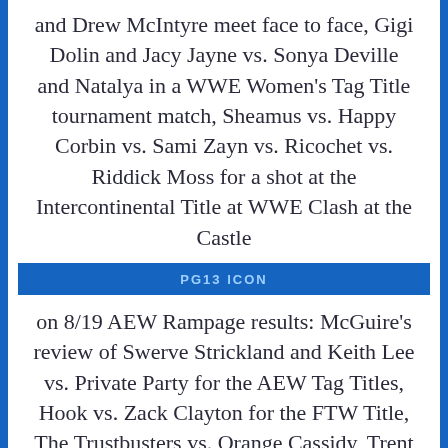and Drew McIntyre meet face to face, Gigi Dolin and Jacy Jayne vs. Sonya Deville and Natalya in a WWE Women's Tag Title tournament match, Sheamus vs. Happy Corbin vs. Sami Zayn vs. Ricochet vs. Riddick Moss for a shot at the Intercontinental Title at WWE Clash at the Castle
PG13 ICON
on 8/19 AEW Rampage results: McGuire's review of Swerve Strickland and Keith Lee vs. Private Party for the AEW Tag Titles, Hook vs. Zack Clayton for the FTW Title, The Trustbusters vs. Orange Cassidy, Trent Beretta, and Chuck Taylor in an AEW Trios Titles tournament match, Penelope Ford vs. Athena